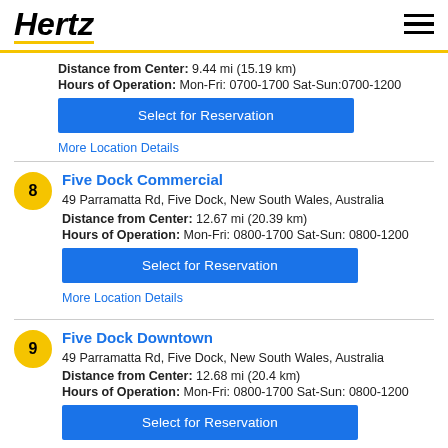Hertz
Distance from Center: 9.44 mi (15.19 km)
Hours of Operation: Mon-Fri: 0700-1700 Sat-Sun:0700-1200
Select for Reservation
More Location Details
8 Five Dock Commercial
49 Parramatta Rd, Five Dock, New South Wales, Australia
Distance from Center: 12.67 mi (20.39 km)
Hours of Operation: Mon-Fri: 0800-1700 Sat-Sun: 0800-1200
Select for Reservation
More Location Details
9 Five Dock Downtown
49 Parramatta Rd, Five Dock, New South Wales, Australia
Distance from Center: 12.68 mi (20.4 km)
Hours of Operation: Mon-Fri: 0800-1700 Sat-Sun: 0800-1200